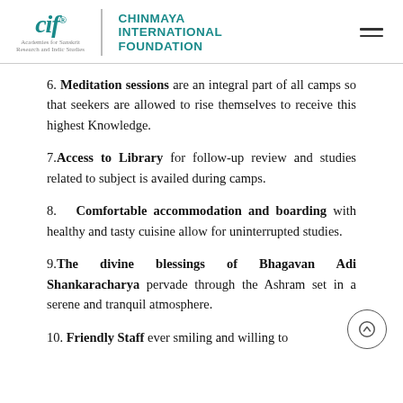Chinmaya International Foundation — Academies for Sanskrit Research and Indic Studies
6. Meditation sessions are an integral part of all camps so that seekers are allowed to rise themselves to receive this highest Knowledge.
7. Access to Library for follow-up review and studies related to subject is availed during camps.
8. Comfortable accommodation and boarding with healthy and tasty cuisine allow for uninterrupted studies.
9. The divine blessings of Bhagavan Adi Shankaracharya pervade through the Ashram set in a serene and tranquil atmosphere.
10. Friendly Staff ever smiling and willing to